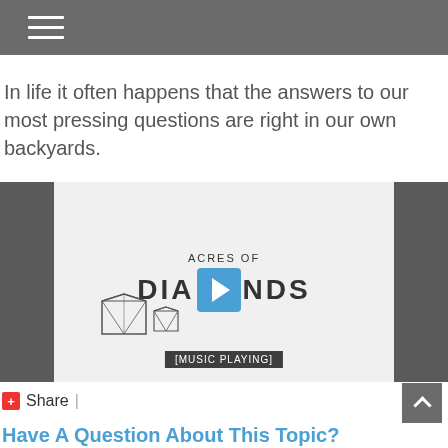In life it often happens that the answers to our most pressing questions are right in our own backyards.
[Figure (screenshot): Video thumbnail for 'Acres of Diamonds' showing hand-drawn diamond shapes and a blue play button in the center, with '[MUSIC PLAYING]' caption bar at the bottom.]
Share |
Have A Question About This Topic?